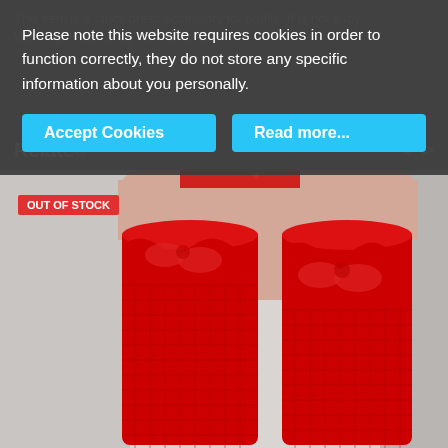This item is a fancy dress accessory for adults. It is not a toy. Warning! Keep away from children.
Related
[Figure (photo): Red fishnet thigh-high stockings with lace tops on a female model, shown from thigh to ankle against a white/grey background. An OUT OF STOCK badge is displayed in the top-left corner.]
Please note this website requires cookies in order to function correctly, they do not store any specific information about you personally.
Accept Cookies
Read more...